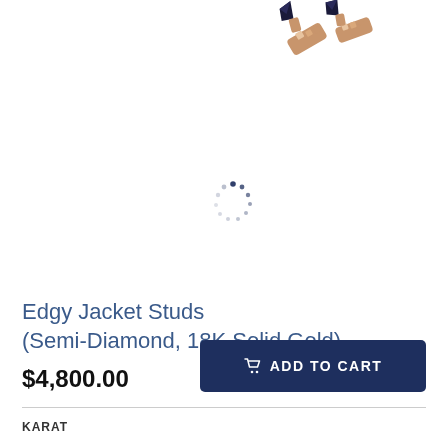[Figure (photo): Rose gold earring jacket studs with black and diamond accents, shown at top right of image area. A loading spinner is visible in the center of the image area.]
Edgy Jacket Studs (Semi-Diamond, 18K Solid Gold)
$4,800.00
ADD TO CART
KARAT